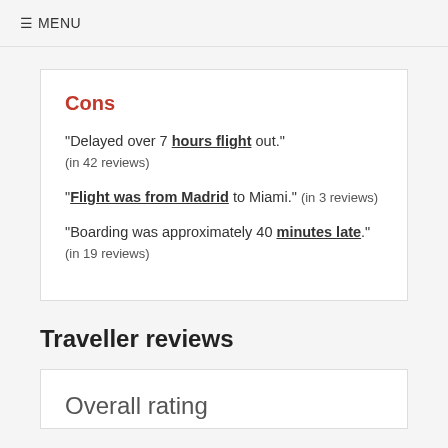≡ MENU
Cons
"Delayed over 7 hours flight out." (in 42 reviews)
"Flight was from Madrid to Miami." (in 3 reviews)
"Boarding was approximately 40 minutes late." (in 19 reviews)
Traveller reviews
Overall rating